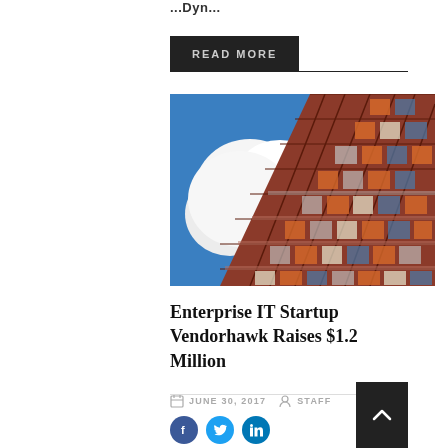...
READ MORE
[Figure (photo): Composite photo showing blue sky with white clouds on the left and a colorful modern building facade with orange, blue, and white panels on the right, split diagonally.]
Enterprise IT Startup Vendorhawk Raises $1.2 Million
JUNE 30, 2017  STAFF